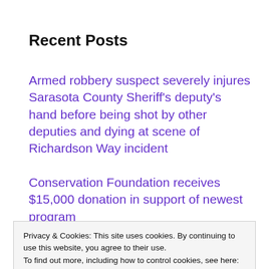Recent Posts
Armed robbery suspect severely injures Sarasota County Sheriff's deputy's hand before being shot by other deputies and dying at scene of Richardson Way incident
Conservation Foundation receives $15,000 donation in support of newest program
Privacy & Cookies: This site uses cookies. By continuing to use this website, you agree to their use.
To find out more, including how to control cookies, see here: Cookie Policy
plans to build hospital in North Port